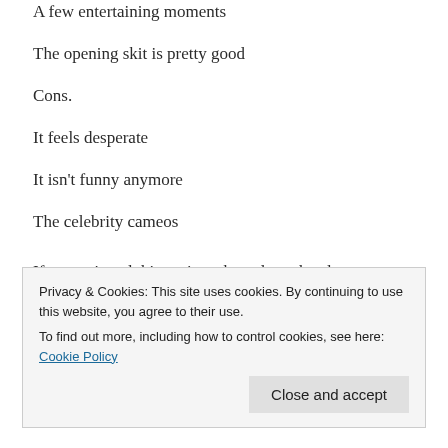A few entertaining moments
The opening skit is pretty good
Cons.
It feels desperate
It isn't funny anymore
The celebrity cameos
If you enjoyed this review, then please head over to my
Patreon to support me. I offer personalized shoutouts
Privacy & Cookies: This site uses cookies. By continuing to use this website, you agree to their use.
To find out more, including how to control cookies, see here: Cookie Policy
https://www.patreon.com/AnotherMillennialReviewer